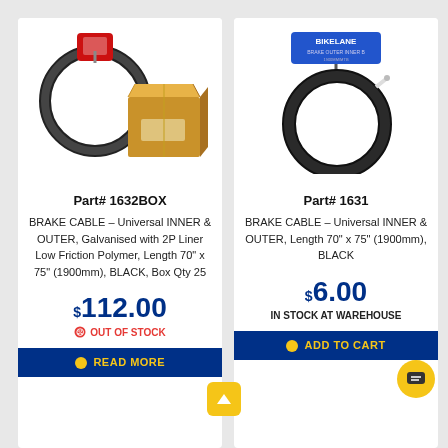[Figure (photo): Brake cable coil with red packaging hanger tag next to a cardboard box, product Part# 1632BOX]
Part# 1632BOX
BRAKE CABLE – Universal INNER & OUTER, Galvanised with 2P Liner Low Friction Polymer, Length 70" x 75" (1900mm), BLACK, Box Qty 25
$112.00
OUT OF STOCK
READ MORE
[Figure (photo): Bike Lane branded brake cable coil with blue packaging card, product Part# 1631]
Part# 1631
BRAKE CABLE – Universal INNER & OUTER, Length 70" x 75" (1900mm), BLACK
$6.00
IN STOCK AT WAREHOUSE
ADD TO CART